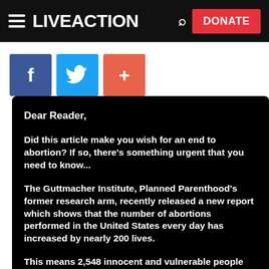LIVE ACTION — DONATE
[Figure (logo): Live Action website header with hamburger menu, LIVE ACTION logo, search icon, and red DONATE button]
[Figure (infographic): Three social sharing buttons: Facebook (blue), Twitter (light blue), and plus/share (orange-red)]
Dear Reader,

Did this article make you wish for an end to abortion? If so, there's something urgent that you need to know...

The Guttmacher Institute, Planned Parenthood's former research arm, recently released a new report which shows that the number of abortions performed in the United States every day has increased by nearly 200 lives.

This means 2,548 innocent and vulnerable people are being